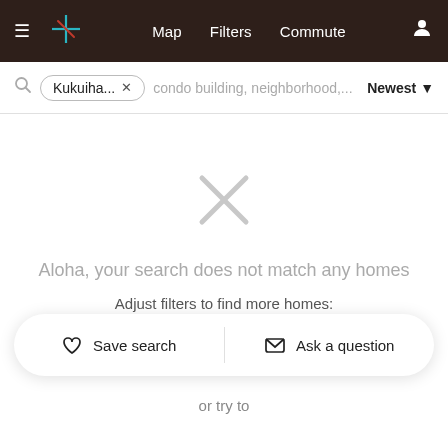≡  +  Map  Filters  Commute  [user icon]
🔍 Kukuiha... ×   condo building, neighborhood,...   Newest ▾
[Figure (other): Large gray X icon indicating no results]
Aloha, your search does not match any homes
Adjust filters to find more homes:
♡ Save search   ✉ Ask a question
or try to